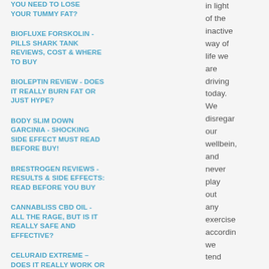YOU NEED TO LOSE YOUR TUMMY FAT?
BIOFLUXE FORSKOLIN - PILLS SHARK TANK REVIEWS, COST & WHERE TO BUY
BIOLEPTIN REVIEW - DOES IT REALLY BURN FAT OR JUST HYPE?
BODY SLIM DOWN GARCINIA - SHOCKING SIDE EFFECT MUST READ BEFORE BUY!
BRESTROGEN REVIEWS - RESULTS & SIDE EFFECTS: READ BEFORE YOU BUY
CANNABLISS CBD OIL - ALL THE RAGE, BUT IS IT REALLY SAFE AND EFFECTIVE?
CELURAID EXTREME – DOES IT REALLY WORK OR ANOTHER SCAM??
CEREBRAL BOOST
in light of the inactive way of life we are driving today. We disregard our wellbeing, and never play out any exercise according we tend